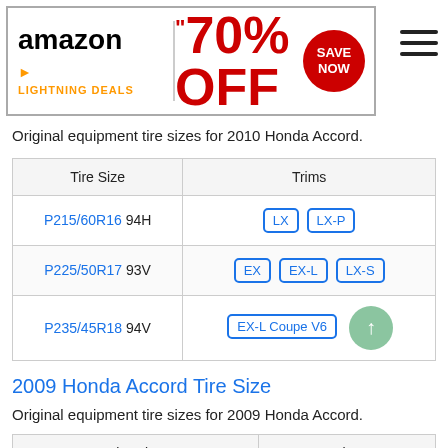[Figure (infographic): Amazon Lightning Deals advertisement banner showing '70% OFF' text in red and a 'SAVE NOW' badge]
Original equipment tire sizes for 2010 Honda Accord.
| Tire Size | Trims |
| --- | --- |
| P215/60R16 94H | LX  LX-P |
| P225/50R17 93V | EX  EX-L  LX-S |
| P235/45R18 94V | EX-L Coupe V6 |
2009 Honda Accord Tire Size
Original equipment tire sizes for 2009 Honda Accord.
| Tire Size | Trims |
| --- | --- |